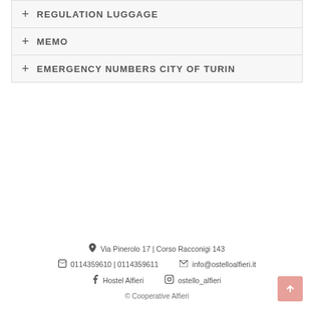+ REGULATION LUGGAGE
+ MEMO
+ EMERGENCY NUMBERS CITY OF TURIN
Via Pinerolo 17 | Corso Racconigi 143
0114359610 | 0114359611   info@ostelloalfieri.it
Hostel Alfieri   ostello_alfieri
© Cooperative Alfieri